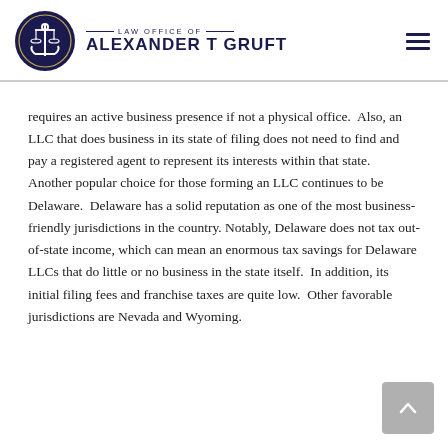LAW OFFICE OF ALEXANDER T GRUFT
requires an active business presence if not a physical office.  Also, an LLC that does business in its state of filing does not need to find and pay a registered agent to represent its interests within that state.  Another popular choice for those forming an LLC continues to be Delaware.  Delaware has a solid reputation as one of the most business-friendly jurisdictions in the country. Notably, Delaware does not tax out-of-state income, which can mean an enormous tax savings for Delaware LLCs that do little or no business in the state itself.  In addition, its initial filing fees and franchise taxes are quite low.  Other favorable jurisdictions are Nevada and Wyoming.